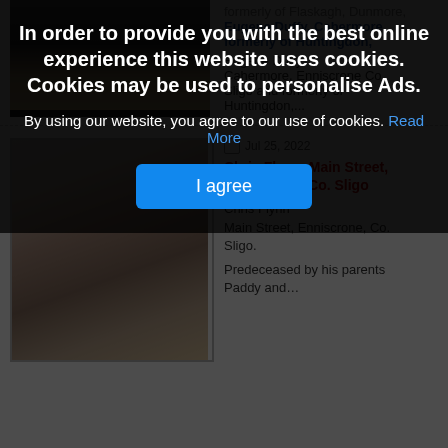[Figure (photo): Partially visible portrait photo at top, mostly dark]
formerly of Flaskagh, Dunmore,
[Figure (photo): Partially visible photo of person]
Eugene Duffy, Cahermore, formerly of Huntingdon,
Eugene Duffy
Cahermore, Enniscrone Co. Sligo and formerly of Huntingdon,...
Jul 25, 2022
Chris Flynn, Main Street, Enniscrone, Co. Sligo
Chris Flynn
Main Street, Enniscrone, Co. Sligo.
Predeceased by his parents Paddy and...
[Figure (photo): Portrait photo of a smiling middle-aged man with gray hair]
In order to provide you with the best online experience this website uses cookies. Cookies may be used to personalise Ads.
By using our website, you agree to our use of cookies. Read More
I agree